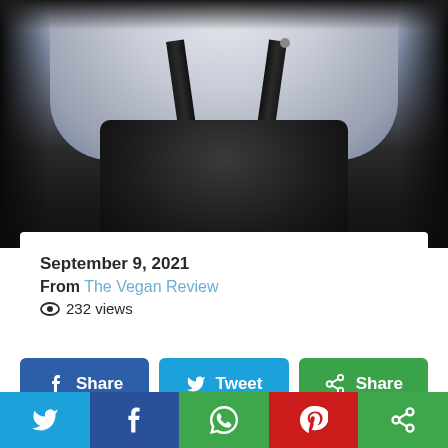[Figure (photo): Close-up photo of a person wearing a white chef coat with black suspenders/apron, cropped at torso level]
September 9, 2021
From The Vegan Review
👁 232 views
Share | Tweet | Share
Twitter | Facebook | WhatsApp | Pinterest | More Share